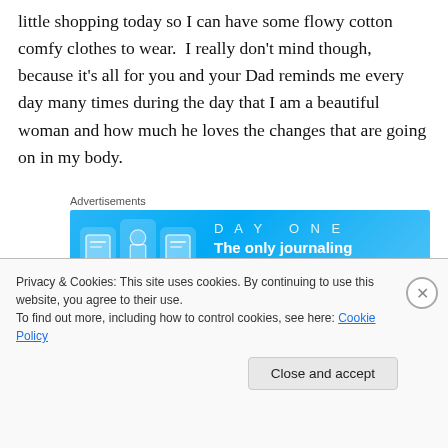little shopping today so I can have some flowy cotton comfy clothes to wear.  I really don't mind though, because it's all for you and your Dad reminds me every day many times during the day that I am a beautiful woman and how much he loves the changes that are going on in my body.
[Figure (other): Day One journaling app advertisement banner with blue background showing app icons and tagline 'The only journaling app you'll ever need']
I hope and pray that someday you marry a man like your Dad.  That would be my greatest wish for you.
Privacy & Cookies: This site uses cookies. By continuing to use this website, you agree to their use.
To find out more, including how to control cookies, see here: Cookie Policy
Close and accept